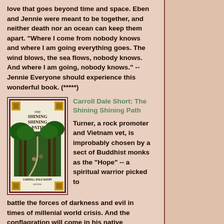love that goes beyond time and space. Eben and Jennie were meant to be together, and neither death nor an ocean can keep them apart. "Where I come from nobody knows and where I am going everything goes. The wind blows, the sea flows, nobody knows. And where I am going, nobody knows." --Jennie Everyone should experience this wonderful book. (*****)
[Figure (illustration): Book cover of 'The Shining Shining Path' by Carroll Dale Short, featuring an illustrated forest path scene with figures, ornamental gold squares in corners, dark red border.]
Carroll Dale Short: The Shining Shining Path
Turner, a rock promoter and Vietnam vet, is improbably chosen by a sect of Buddhist monks as the "Hope" -- a spiritual warrior picked to battle the forces of darkness and evil in times of millenial world crisis. And the conflagration will come in his native Alabama. The skeptical Turner is sent